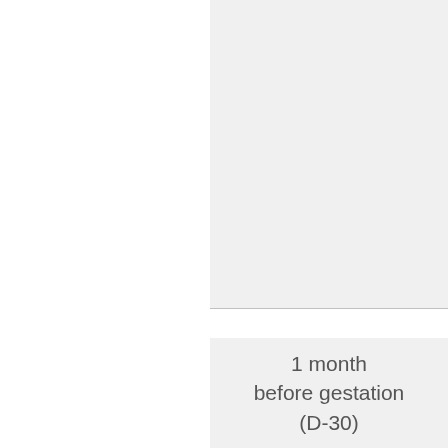planning fo... thoroughly... Perform ba... Decide the... counseling...
This is the poi... menstruation n... healthy reprod... quit it right the... become parents... Complete the fo...
1 month before gestation (D-30)
Women she... Refrain fro... If you have... a doctor.